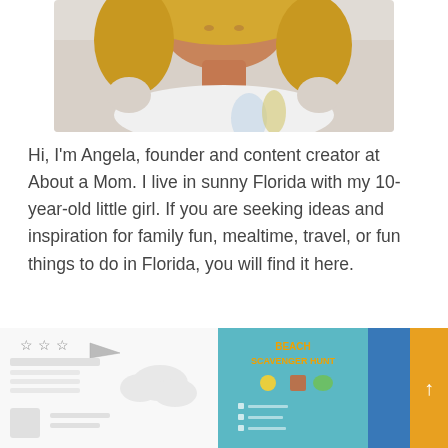[Figure (photo): Portrait photo of Angela, a blonde woman wearing a white cold-shoulder top with a floral design, photographed outdoors at what appears to be a beach]
Hi, I'm Angela, founder and content creator at About a Mom. I live in sunny Florida with my 10-year-old little girl. If you are seeking ideas and inspiration for family fun, mealtime, travel, or fun things to do in Florida, you will find it here.
[Figure (screenshot): Thumbnail image showing a printable worksheet or planner with stars and paper airplane design]
[Figure (screenshot): Thumbnail image showing a Beach Scavenger Hunt printable with colorful graphics on a teal background]